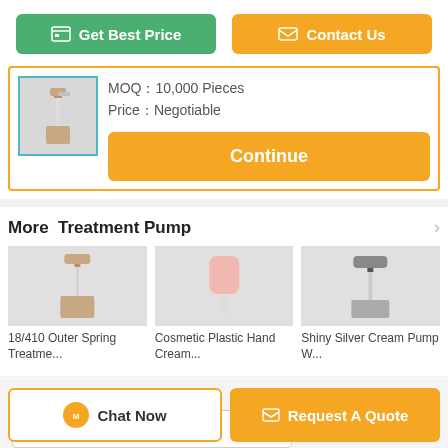Get Best Price
Contact Us
MOQ：10,000 Pieces
Price：Negotiable
Continue
More  Treatment Pump
[Figure (photo): 18/410 Outer Spring Treatment pump product thumbnail]
18/410 Outer Spring Treatme...
[Figure (photo): Cosmetic Plastic Hand Cream pump product thumbnail]
Cosmetic Plastic Hand Cream...
[Figure (photo): Shiny Silver Cream Pump product thumbnail]
Shiny Silver Cream Pump W...
Change Language
english
Chat Now
Request A Quote